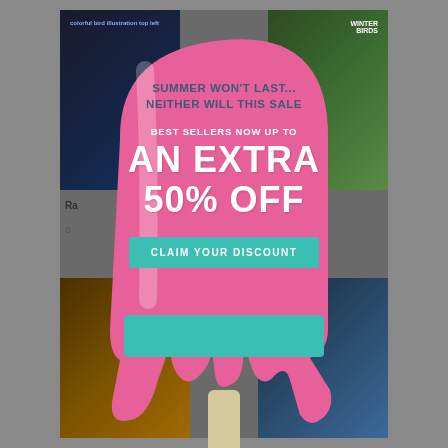[Figure (infographic): Promotional popup ad shaped like a melting popsicle/ice lolly in pink. Contains sale messaging overlaid on a magazine website background. Text reads: 'SUMMER WON'T LAST... NEITHER WILL THIS SALE', 'BEST SELLERS NOW UP TO', 'AN EXTRA', '50% OFF', with a teal 'CLAIM YOUR DISCOUNT' button.]